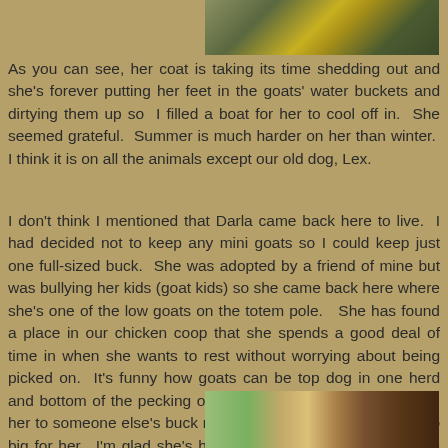[Figure (photo): Top portion of a photo showing green grass and what appears to be a yellow/gold container or boat outdoors]
As you can see, her coat is taking its time shedding out and she's forever putting her feet in the goats' water buckets and dirtying them up so  I filled a boat for her to cool off in.  She seemed grateful.  Summer is much harder on her than winter.  I think it is on all the animals except our old dog, Lex.
I don't think I mentioned that Darla came back here to live.  I had decided not to keep any mini goats so I could keep just one full-sized buck.  She was adopted by a friend of mine but was bullying her kids (goat kids) so she came back here where she's one of the low goats on the totem pole.   She has found a place in our chicken coop that she spends a good deal of time in when she wants to rest without worrying about being picked on.  It's funny how goats can be top dog in one herd and bottom of the pecking order in another.  I'll have to breed her to someone else's buck next spring because Cooper is too big for her.  I'm glad she's home.  She's still very affectionate and dog-like.  If she could live in the house I'd let her.
[Figure (photo): Bottom portion of a photo showing what appears to be a wooden barn or chicken coop interior with light coming through]